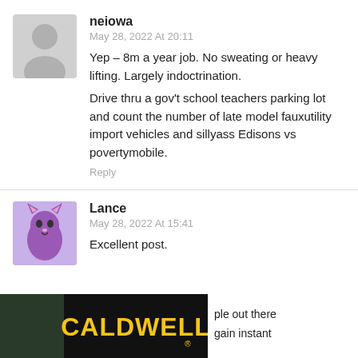[Figure (illustration): Gray silhouette avatar of a person on a light gray background]
neiowa
May 28, 2022 At 20:11
Yep – 8m a year job. No sweating or heavy lifting. Largely indoctrination.
Drive thru a gov't school teachers parking lot and count the number of late model fauxutility import vehicles and sillyass Edisons vs povertymobile.
Reply
[Figure (illustration): Purple cartoon cat character avatar]
Lance
May 28, 2022 At 15:41
Excellent post.
[Figure (photo): Caldwell advertisement banner with a person wearing headphones and the Caldwell logo, with partial text 'ple out there' and 'gain instant']